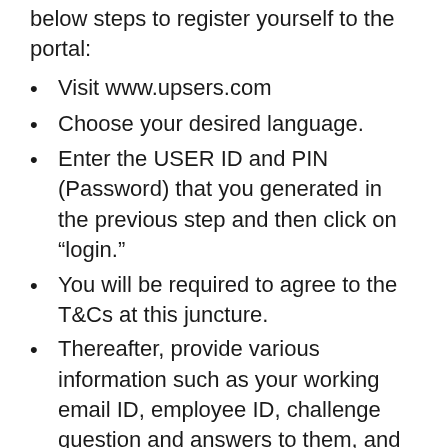below steps to register yourself to the portal:
Visit www.upsers.com
Choose your desired language.
Enter the USER ID and PIN (Password) that you generated in the previous step and then click on “login.”
You will be required to agree to the T&Cs at this juncture.
Thereafter, provide various information such as your working email ID, employee ID, challenge question and answers to them, and a strong and secure password.
Now, finally, with these credentials (USER ID and PASSWORD), you are all set to login to your UPSers online portal and avail of the